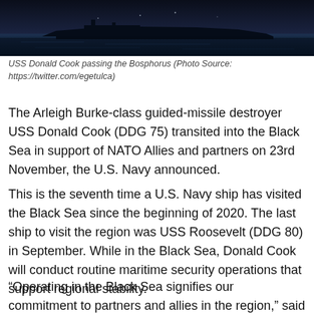[Figure (photo): Dark nighttime photograph of USS Donald Cook passing the Bosphorus strait, showing the ship silhouetted against a dark sky and water.]
USS Donald Cook passing the Bosphorus (Photo Source: https://twitter.com/egetulca)
The Arleigh Burke-class guided-missile destroyer USS Donald Cook (DDG 75) transited into the Black Sea in support of NATO Allies and partners on 23rd November, the U.S. Navy announced.
This is the seventh time a U.S. Navy ship has visited the Black Sea since the beginning of 2020. The last ship to visit the region was USS Roosevelt (DDG 80) in September. While in the Black Sea, Donald Cook will conduct routine maritime security operations that support regional stability.
“Operating in the Black Sea signifies our commitment to partners and allies in the region,” said Cmdr. Kelley Jones,